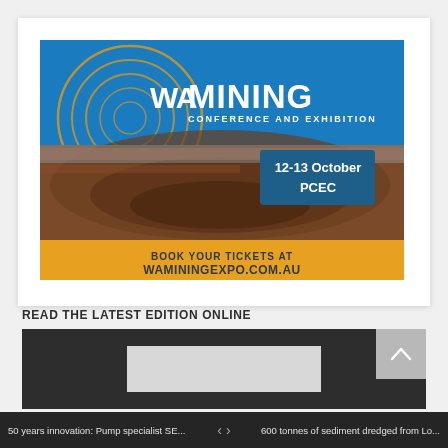[Figure (illustration): WA Mining Conference and Exhibition advertisement banner. Blue upper half with abstract circular logo and 'WA MINING CONFERENCE AND EXHIBITION' text. Lower half shows aerial open-pit mine photo. Blue box with '12-13 October PCEC'. Gold/amber bottom strip: 'BOOK YOUR TICKETS AT WAMININGEXPO.COM.AU'.]
READ THE LATEST EDITION ONLINE
[Figure (screenshot): Dark background section showing latest edition online, with a lighter grey rectangle in the center representing a magazine/document preview.]
50 years innovation: Pump specialist SE...     < >     600 tonnes of sediment dredged from Lo...